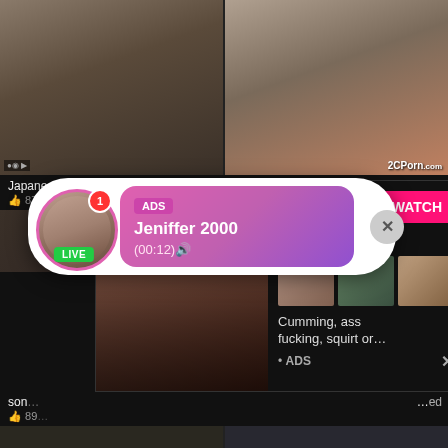[Figure (screenshot): Adult video thumbnail grid showing two video thumbnails at top]
Japanese... Stop Watch...
87...
Female Client Near... ore
[Figure (screenshot): Live chat notification popup with avatar, ADS badge, name Jeniffer 2000, time (00:12), LIVE badge, and close button]
[Figure (screenshot): Adult ad banner: WHAT DO YOU WANT? with WATCH button, Online indicator, thumbnail strip, and text: Cumming, ass fucking, squirt or... ADS]
son...
89...
...ed